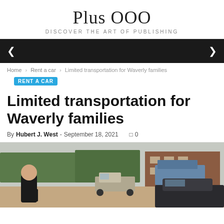Plus OOO
DISCOVER THE ART OF PUBLISHING
[Figure (other): Navigation bar with hamburger/menu icons on dark background]
Home › Rent a car › Limited transportation for Waverly families
RENT A CAR
Limited transportation for Waverly families
By Hubert J. West - September 18, 2021  0
[Figure (photo): A person in black clothing standing in a parking lot near a car; brick apartment buildings and a pickup truck visible in background, overcast sky]